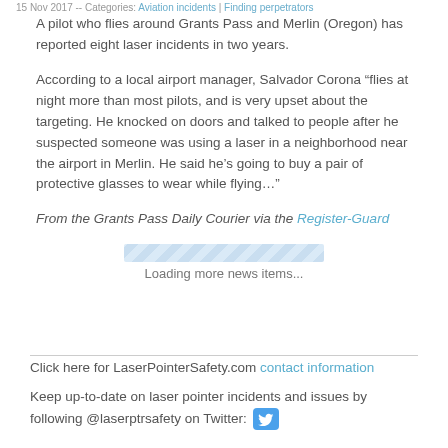15 Nov 2017 -- Categories: Aviation incidents | Finding perpetrators
A pilot who flies around Grants Pass and Merlin (Oregon) has reported eight laser incidents in two years.
According to a local airport manager, Salvador Corona “flies at night more than most pilots, and is very upset about the targeting. He knocked on doors and talked to people after he suspected someone was using a laser in a neighborhood near the airport in Merlin. He said he’s going to buy a pair of protective glasses to wear while flying…”
From the Grants Pass Daily Courier via the Register-Guard
[Figure (other): Loading progress bar with striped blue pattern]
Loading more news items...
Click here for LaserPointerSafety.com contact information
Keep up-to-date on laser pointer incidents and issues by following @laserptrsafety on Twitter: